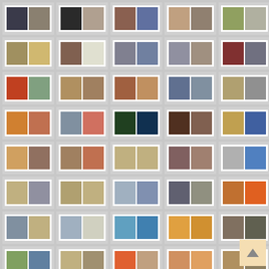[Figure (photo): Grid of thumbnail image pairs arranged in 8 rows and 5 columns, each showing two small photographs side by side on a white background within a gray card. The images appear to show various outdoor/industrial/landscape scenes. A back-to-top button appears in the bottom right corner.]